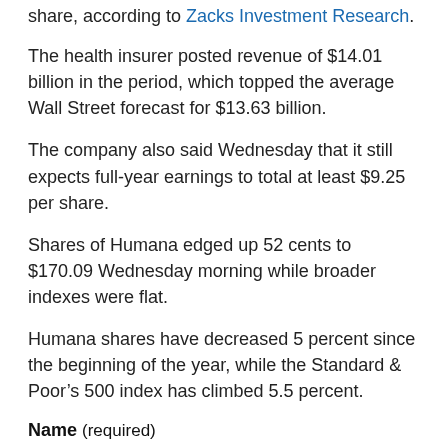share, according to Zacks Investment Research.
The health insurer posted revenue of $14.01 billion in the period, which topped the average Wall Street forecast for $13.63 billion.
The company also said Wednesday that it still expects full-year earnings to total at least $9.25 per share.
Shares of Humana edged up 52 cents to $170.09 Wednesday morning while broader indexes were flat.
Humana shares have decreased 5 percent since the beginning of the year, while the Standard & Poor’s 500 index has climbed 5.5 percent.
Name (required)